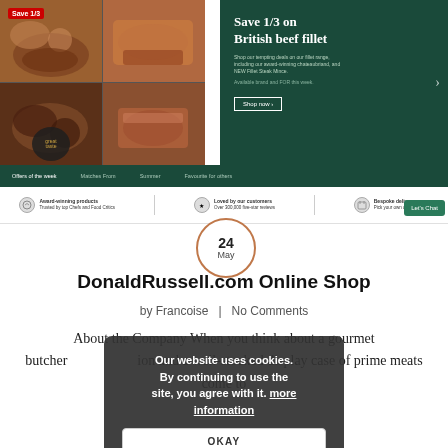[Figure (screenshot): DonaldRussell.com online shop screenshot showing food images, 'Save 1/3' badge, beef fillet promotion, navigation bar, and trust signals bar]
DonaldRussell.com Online Shop
by Francoise | No Comments
About the Company When you think about a gourmet butcher shop, you envision and a well-stocked display case of prime meats come to
Our website uses cookies. By continuing to use the site, you agree with it. more information OKAY